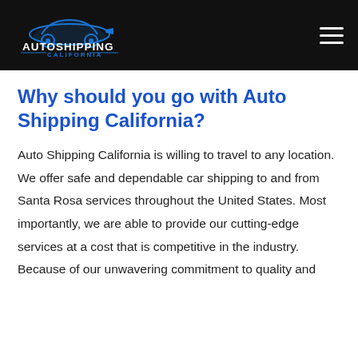AUTOSHIPPING CALIFORNIA
Why should you go with Auto Shipping California?
Auto Shipping California is willing to travel to any location. We offer safe and dependable car shipping to and from Santa Rosa services throughout the United States. Most importantly, we are able to provide our cutting-edge services at a cost that is competitive in the industry. Because of our unwavering commitment to quality and